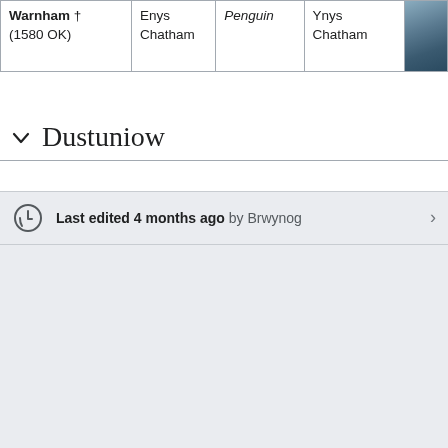| Warnham † (1580 OK) | Enys Chatham | Penguin | Ynys Chatham | [image] |
Dustuniow
Last edited 4 months ago by Brwynog